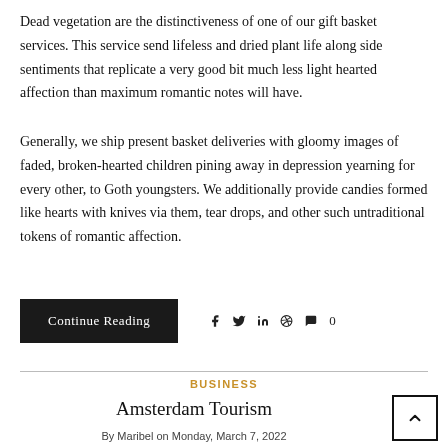Dead vegetation are the distinctiveness of one of our gift basket services. This service send lifeless and dried plant life along side sentiments that replicate a very good bit much less light hearted affection than maximum romantic notes will have.
Generally, we ship present basket deliveries with gloomy images of faded, broken-hearted children pining away in depression yearning for every other, to Goth youngsters. We additionally provide candies formed like hearts with knives via them, tear drops, and other such untraditional tokens of romantic affection.
Continue Reading
BUSINESS
Amsterdam Tourism
By Maribel on Monday, March 7, 2022